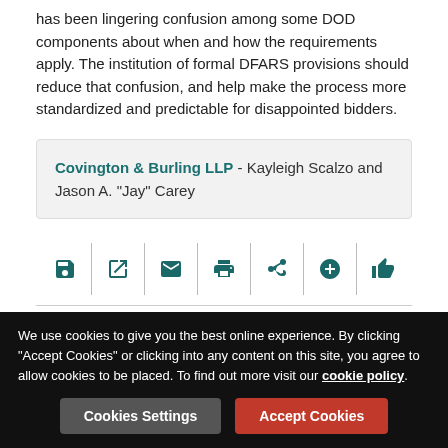has been lingering confusion among some DOD components about when and how the requirements apply. The institution of formal DFARS provisions should reduce that confusion, and help make the process more standardized and predictable for disappointed bidders.
Covington & Burling LLP - Kayleigh Scalzo and Jason A. "Jay" Carey
[Figure (other): Icon toolbar with save, external link, email, print, share, add, and thumbs up buttons]
Filed under
USA | Projects & Procurement | Covington & Burling LLP
We use cookies to give you the best online experience. By clicking "Accept Cookies" or clicking into any content on this site, you agree to allow cookies to be placed. To find out more visit our cookie policy.